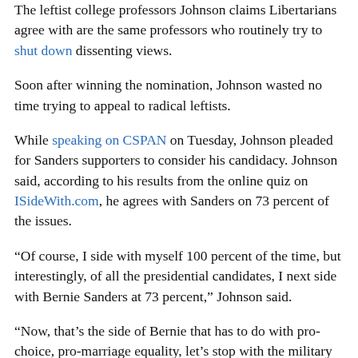The leftist college professors Johnson claims Libertarians agree with are the same professors who routinely try to shut down dissenting views.
Soon after winning the nomination, Johnson wasted no time trying to appeal to radical leftists.
While speaking on CSPAN on Tuesday, Johnson pleaded for Sanders supporters to consider his candidacy. Johnson said, according to his results from the online quiz on ISideWith.com, he agrees with Sanders on 73 percent of the issues.
“Of course, I side with myself 100 percent of the time, but interestingly, of all the presidential candidates, I next side with Bernie Sanders at 73 percent,” Johnson said.
“Now, that’s the side of Bernie that has to do with pro-choice, pro-marriage equality, let’s stop with the military interventions, that there is crony capitalism, that government isn’t really fair when it comes to this